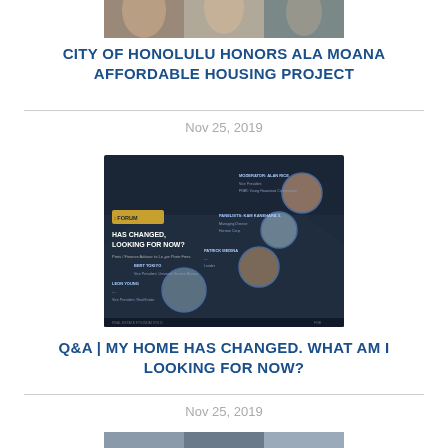[Figure (photo): Top cropped photo of people, partially visible at top of page]
CITY OF HONOLULU HONORS ALA MOANA AFFORDABLE HOUSING PROJECT
Nov 25, 2019
[Figure (infographic): Dark-background forum promotional image with circular headshots of speakers and text about Q&A forum on 'My Home Has Changed, What Am I Looking For Now?']
Q&A | MY HOME HAS CHANGED. WHAT AM I LOOKING FOR NOW?
Nov 25, 2019
[Figure (photo): Bottom cropped photo partially visible at bottom of page]